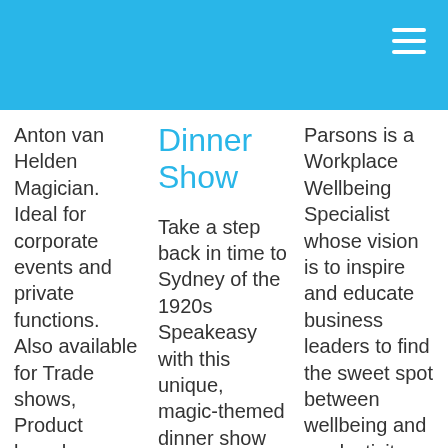Anton van Helden Magician. Ideal for corporate events and private functions. Also available for Trade shows, Product launches, Wedding receptions, cocktail parties and gala dinners.
Dinner Show
Take a step back in time to Sydney of the 1920s Speakeasy with this unique, magic-themed dinner show Ideal for corporate dinners, birthday
Parsons is a Workplace Wellbeing Specialist whose vision is to inspire and educate business leaders to find the sweet spot between wellbeing and productivity, creating positive, energised workplaces